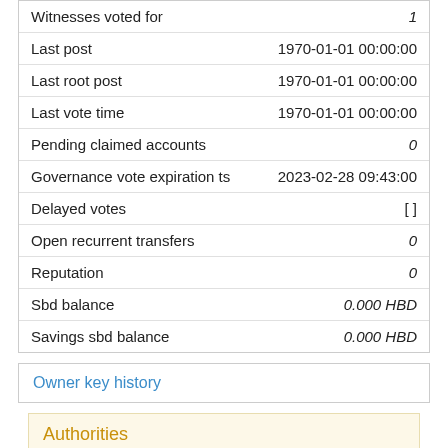| Field | Value |
| --- | --- |
| Witnesses voted for | 1 |
| Last post | 1970-01-01 00:00:00 |
| Last root post | 1970-01-01 00:00:00 |
| Last vote time | 1970-01-01 00:00:00 |
| Pending claimed accounts | 0 |
| Governance vote expiration ts | 2023-02-28 09:43:00 |
| Delayed votes | [ ] |
| Open recurrent transfers | 0 |
| Reputation | 0 |
| Sbd balance | 0.000 HBD |
| Savings sbd balance | 0.000 HBD |
Owner key history
Authorities
Owner
STM8YJAwDJePbRWzXzoZZnjCBBYyDEjKfVFE8JkhToBxdz9fbMbTJ